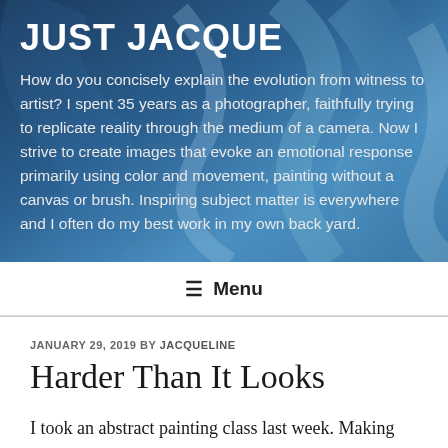[Figure (photo): Abstract blue and dark teal swirling background image used as hero banner for the blog]
JUST JACQUE
How do you concisely explain the evolution from witness to artist? I spent 35 years as a photographer, faithfully trying to replicate reality through the medium of a camera. Now I strive to create images that evoke an emotional response primarily using color and movement, painting without a canvas or brush. Inspiring subject matter is everywhere and I often do my best work in my own back yard.
≡  Menu
JANUARY 29, 2019 BY JACQUELINE
Harder Than It Looks
I took an abstract painting class last week. Making random art with paint is a lot harder than it looks. People who claim their toddler can paint better than Jackson